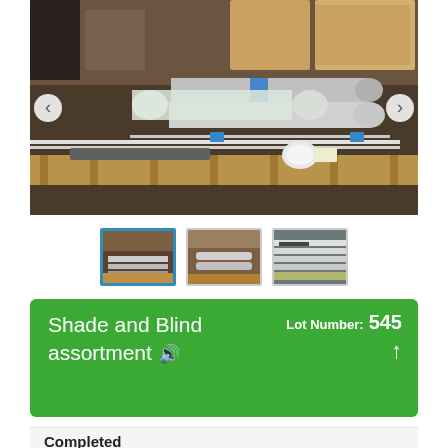[Figure (photo): A pallet loaded with various window shades and blinds, both rolled and flat, wrapped in plastic, stored in a warehouse setting with cardboard boxes in background. Navigation arrows visible on left and right sides.]
[Figure (photo): Thumbnail 1 (active/selected): Close-up of assorted blinds and shades on a pallet, blue border indicating selected state.]
[Figure (photo): Thumbnail 2: Side view of stacked blinds and window coverings on a wooden pallet.]
[Figure (photo): Thumbnail 3: Another angle showing white/silver horizontal blinds on a pallet.]
Shade and Blind assortment 🔊
Lot Number: 545
Completed